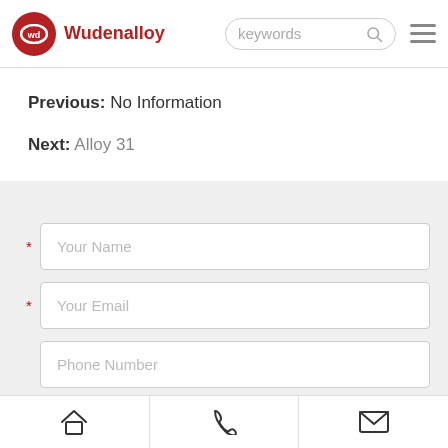Wudenalloy — navigation bar with logo, search, and menu
Previous: No Information
Next: Alloy 31
[Figure (screenshot): Contact form with fields: Your Name (required), Your Email (required), Phone Number]
Bottom navigation bar with home, phone, and email icons